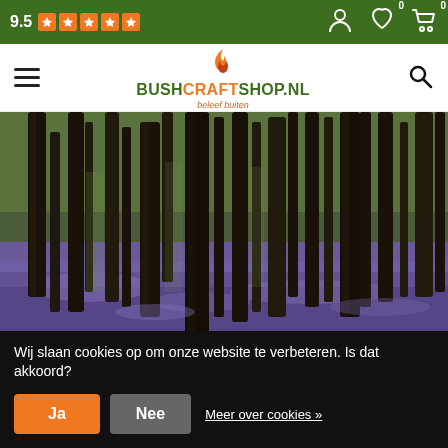9.5 ★★★★★ | BushcraftShop.nl - beleef buiten
[Figure (photo): Forest photo showing tall dark tree trunks with purple/blue wildflowers (bluebells) carpeting the forest floor, with green foliage in the background. Dark, moody atmosphere.]
Sokken
Wij slaan cookies op om onze website te verbeteren. Is dat akkoord?
Ja  Nee  Meer over cookies »